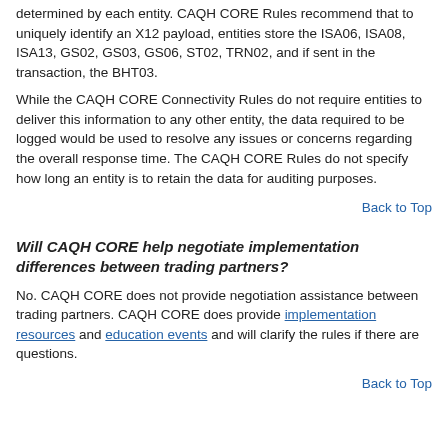determined by each entity. CAQH CORE Rules recommend that to uniquely identify an X12 payload, entities store the ISA06, ISA08, ISA13, GS02, GS03, GS06, ST02, TRN02, and if sent in the transaction, the BHT03.
While the CAQH CORE Connectivity Rules do not require entities to deliver this information to any other entity, the data required to be logged would be used to resolve any issues or concerns regarding the overall response time. The CAQH CORE Rules do not specify how long an entity is to retain the data for auditing purposes.
Back to Top
Will CAQH CORE help negotiate implementation differences between trading partners?
No. CAQH CORE does not provide negotiation assistance between trading partners. CAQH CORE does provide implementation resources and education events and will clarify the rules if there are questions.
Back to Top